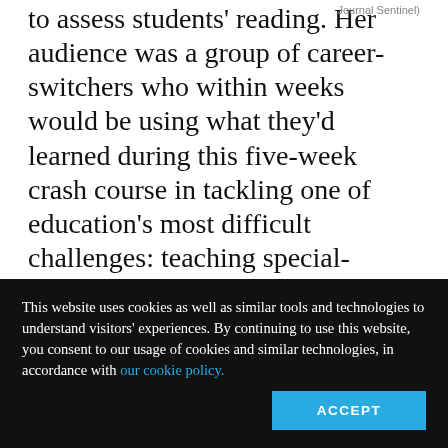Journal Sentinel)
to assess students' reading. Her audience was a group of career-switchers who within weeks would be using what they'd learned during this five-week crash course in tackling one of education's most difficult challenges: teaching special-education students.
Menacher knew she had little time and a lot to
This website uses cookies as well as similar tools and technologies to understand visitors' experiences. By continuing to use this website, you consent to our usage of cookies and similar technologies, in accordance with our cookie policy.